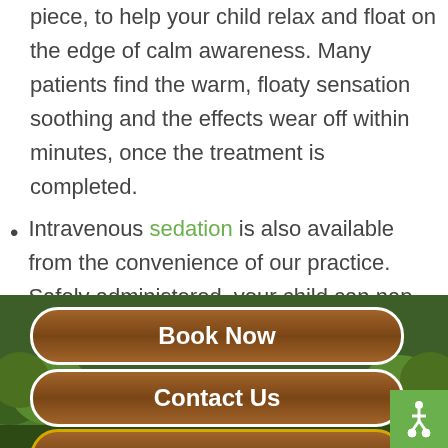piece, to help your child relax and float on the edge of calm awareness. Many patients find the warm, floaty sensation soothing and the effects wear off within minutes, once the treatment is completed.
Intravenous sedation is also available from the convenience of our practice. Safely administered, your child can nap through their dental therapy, unawares.
[Figure (illustration): Jungle/forest themed decorative background with brown wooden-texture buttons]
Book Now
Contact Us
Call 503-874-4560